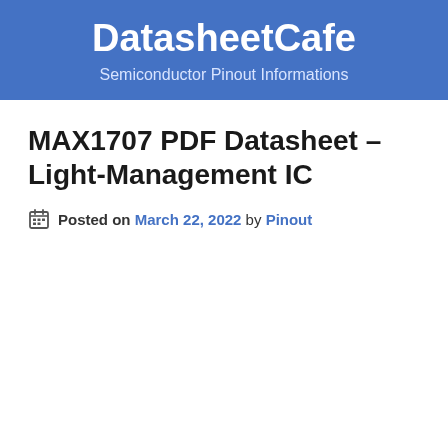DatasheetCafe
Semiconductor Pinout Informations
MAX1707 PDF Datasheet – Light-Management IC
Posted on March 22, 2022 by Pinout